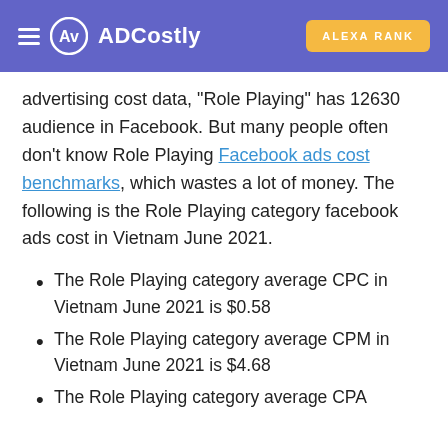ADCostly | ALEXA RANK
advertising cost data, "Role Playing" has 12630 audience in Facebook. But many people often don't know Role Playing Facebook ads cost benchmarks, which wastes a lot of money. The following is the Role Playing category facebook ads cost in Vietnam June 2021.
The Role Playing category average CPC in Vietnam June 2021 is $0.58
The Role Playing category average CPM in Vietnam June 2021 is $4.68
The Role Playing category average CPA